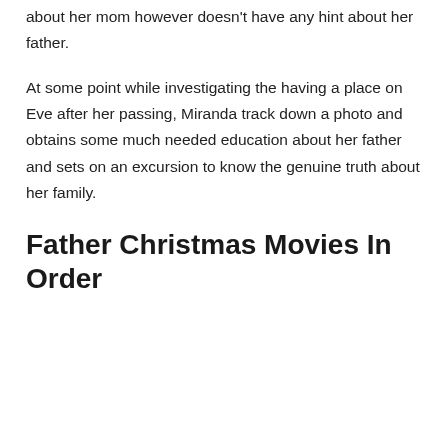about her mom however doesn't have any hint about her father.
At some point while investigating the having a place on Eve after her passing, Miranda track down a photo and obtains some much needed education about her father and sets on an excursion to know the genuine truth about her family.
Father Christmas Movies In Order